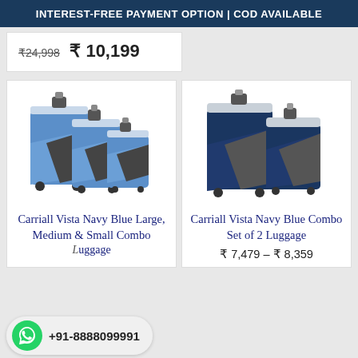INTEREST-FREE PAYMENT OPTION | COD AVAILABLE
₹24,998  ₹ 10,199
[Figure (photo): Three blue and grey Carriall Vista luggage bags in large, medium, and small sizes on wheels]
Carriall Vista Navy Blue Large, Medium & Small Combo Luggage
[Figure (photo): Two blue and grey Carriall Vista luggage bags (combo set of 2) on wheels]
Carriall Vista Navy Blue Combo Set of 2 Luggage
₹ 7,479 – ₹ 8,359
+91-8888099991